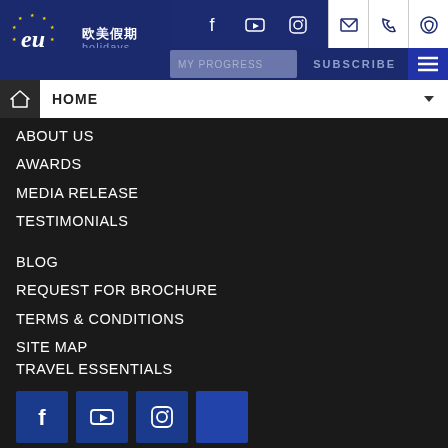[Figure (logo): EU Holidays logo with circular star emblem, Chinese characters 欧美假期 and text holidays]
ABOUT US
AWARDS
MEDIA RELEASE
TESTIMONIALS
BLOG
REQUEST FOR BROCHURE
TERMS & CONDITIONS
SITE MAP
TRAVEL ESSENTIALS
PRIVACY POLICY